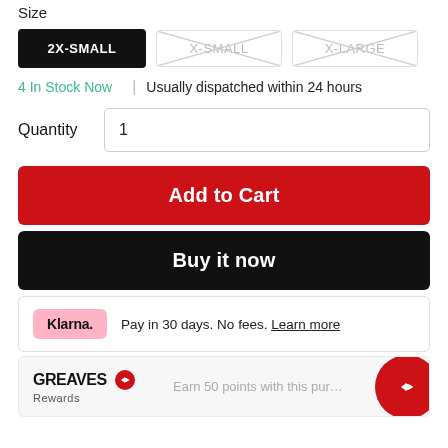Size
2X-SMALL (selected), X-SMALL (unavailable), X-LARGE (unavailable)
4 In Stock Now  |  Usually dispatched within 24 hours
Quantity  1
Add to Cart
Buy it now
Klarna.  Pay in 30 days. No fees. Learn more
GREAVES Rewards  Earn 50 points with this purchase